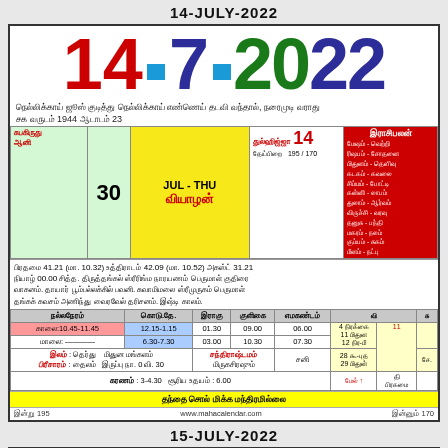14-JULY-2022
14-7-2022
நெல்லிக்காய் ஜூஸ் குடித்து நெல்லிக்காய் எண்ணெய் தடவி வந்தால், நரைமுடி வராது சக வருடம் 1944 ஆடாடம் 23
| சுபகிருது 30 | JUL - THU வியாழன் | துல்ஹிஜ்ஜா 14 | இராசிபலன் |
| --- | --- | --- | --- |
www.mahacalendar.com
15-JULY-2022